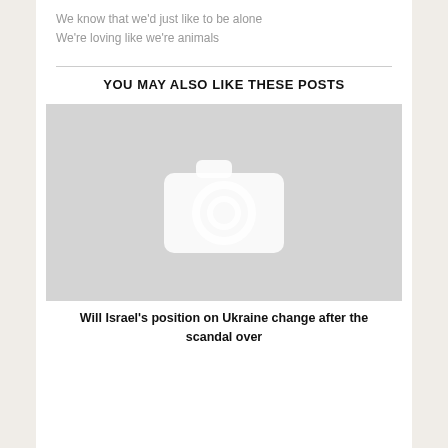We know that we'd just like to be alone
We're loving like we're animals
YOU MAY ALSO LIKE THESE POSTS
[Figure (photo): Placeholder image with camera icon on grey background]
Will Israel's position on Ukraine change after the scandal over